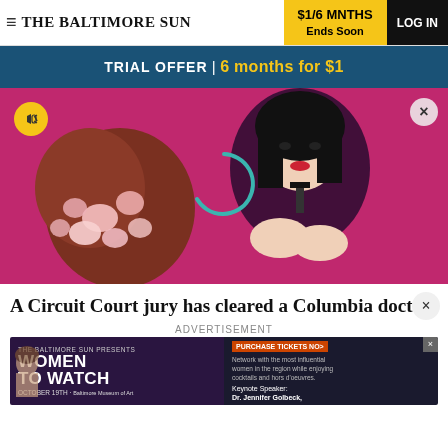THE BALTIMORE SUN | $1/6 MNTHS Ends Soon | LOG IN
TRIAL OFFER | 6 months for $1
[Figure (photo): A woman with black hair wearing a black blazer and choker tie, posed in front of a pink wall with floral arrangement. A yellow mute button icon is visible top-left, and a teal loading arc overlay is in the center.]
A Circuit Court jury has cleared a Columbia doctor
ADVERTISEMENT
[Figure (other): Advertisement banner for Women to Watch event, October 19th, featuring keynote speaker Dr. Jennifer Golbeck of University of Maryland. Left side shows Women to Watch branding, right side shows purchase tickets button and event details.]